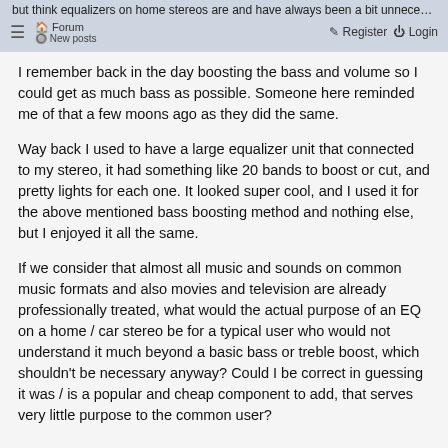but think equalizers on home stereos are and have always been a bit unnecessary. ≡ Forum New posts Register Login
I remember back in the day boosting the bass and volume so I could get as much bass as possible. Someone here reminded me of that a few moons ago as they did the same.
Way back I used to have a large equalizer unit that connected to my stereo, it had something like 20 bands to boost or cut, and pretty lights for each one. It looked super cool, and I used it for the above mentioned bass boosting method and nothing else, but I enjoyed it all the same.
If we consider that almost all music and sounds on common music formats and also movies and television are already professionally treated, what would the actual purpose of an EQ on a home / car stereo be for a typical user who would not understand it much beyond a basic bass or treble boost, which shouldn't be necessary anyway? Could I be correct in guessing it was / is a popular and cheap component to add, that serves very little purpose to the common user?